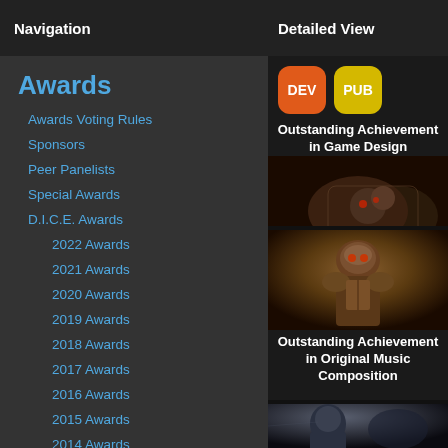Navigation
Detailed View
Awards
Awards Voting Rules
Sponsors
Peer Panelists
Special Awards
D.I.C.E. Awards
2022 Awards
2021 Awards
2020 Awards
2019 Awards
2018 Awards
2017 Awards
2016 Awards
2015 Awards
2014 Awards
2013 Awards
2012 Awards
2011 Awards
[Figure (screenshot): DEV and PUB badge icons with text: Outstanding Achievement in Game Design]
[Figure (photo): Armored game character (Doom-style) with text: Outstanding Achievement in Original Music Composition]
[Figure (photo): Partially visible dark figure at bottom]